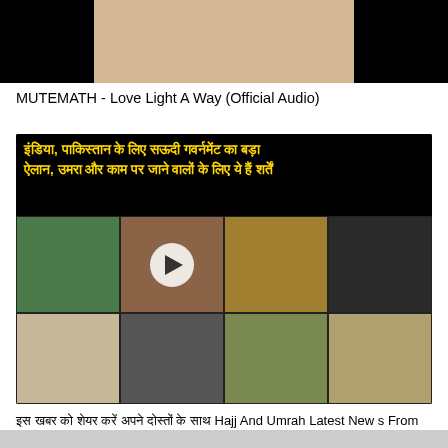[Figure (screenshot): Top portion of a video thumbnail with black background and tan/beige colored image in center (partial view, cropped)]
MUTEMATH - Love Light A Way (Official Audio)
[Figure (screenshot): Video thumbnail with Hindi text in yellow/gold on black background reading news about Saudi government announcement for India and Pakistan regarding Umrah and work conditions. Collage of images below including mosque, Kaaba, prayer scenes, meetings. Play button in center. Caption: इस खबर को शेयर करें अपने दोस्तों के साथ Hajj And Umrah Latest News From Saudia Arabia | The Humanity]
इस खबर को शेयर करें अपने दोस्तों के साथ Hajj And Umrah Latest News From Saudia Arabia | The Humanity